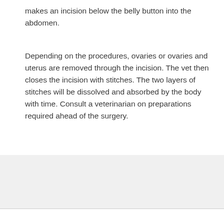makes an incision below the belly button into the abdomen.
Depending on the procedures, ovaries or ovaries and uterus are removed through the incision. The vet then closes the incision with stitches. The two layers of stitches will be dissolved and absorbed by the body with time. Consult a veterinarian on preparations required ahead of the surgery.